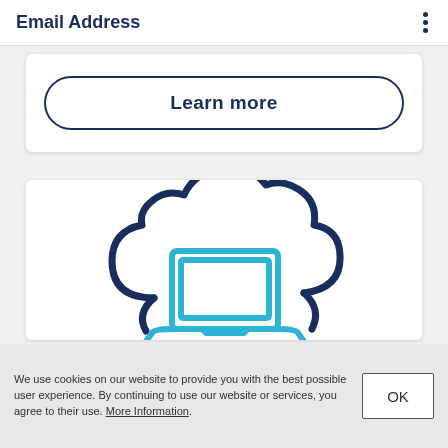Email Address
Learn more
[Figure (illustration): Cloud computing icon: a dark navy outline of a cloud shape with a light blue outline laptop/computer icon in the center foreground.]
We use cookies on our website to provide you with the best possible user experience. By continuing to use our website or services, you agree to their use. More Information.